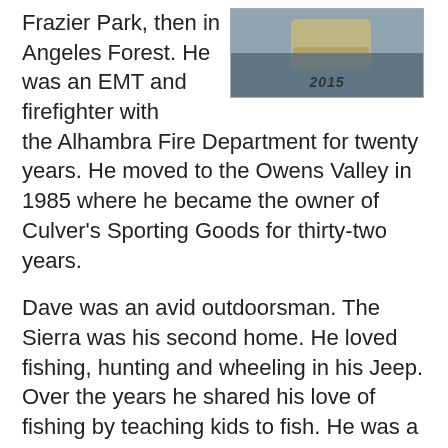[Figure (photo): A photo showing what appears to be a hat or cap with the year '2015' written on it, against a blue/grey background.]
Frazier Park, then in Angeles Forest. He was an EMT and firefighter with the Alhambra Fire Department for twenty years. He moved to the Owens Valley in 1985 where he became the owner of Culver's Sporting Goods for thirty-two years.
Dave was an avid outdoorsman. The Sierra was his second home. He loved fishing, hunting and wheeling in his Jeep. Over the years he shared his love of fishing by teaching kids to fish. He was a skilled rod wrapper and a master woodworker. He liked to support and fundraise for the Inyo County Search and Rescue, Bishop Volunteer Fire Dept. and many others. He was a member of the Bishop Gun Club and enjoyed monthly trap shoots with friends. He was a friend to many and loved to joke and tease.
Dave is survived by his wife Karen, his brother Tom, his daughter Susan (Varouj), his son Mike (Debbie); his stepson Dave; his stepson Jeff (Kimberly); his stepdaughter Tracy; 7 grandchildren; a niece and a